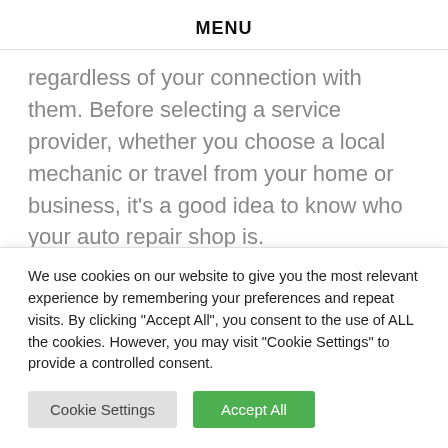MENU
regardless of your connection with them. Before selecting a service provider, whether you choose a local mechanic or travel from your home or business, it's a good idea to know who your auto repair shop is.
There are various methods for locating a good mechanic. You may look at consumer
We use cookies on our website to give you the most relevant experience by remembering your preferences and repeat visits. By clicking "Accept All", you consent to the use of ALL the cookies. However, you may visit "Cookie Settings" to provide a controlled consent.
Cookie Settings | Accept All